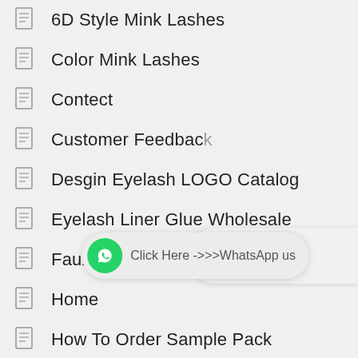6D Style Mink Lashes
Color Mink Lashes
Contect
Customer Feedback
Desgin Eyelash LOGO Catalog
Eyelash Liner Glue Wholesale
Faux Lashes
Home
How To Order Sample Pack
Lash Tools
Mink Lashes
Private Label Custom Eyelash Packaging